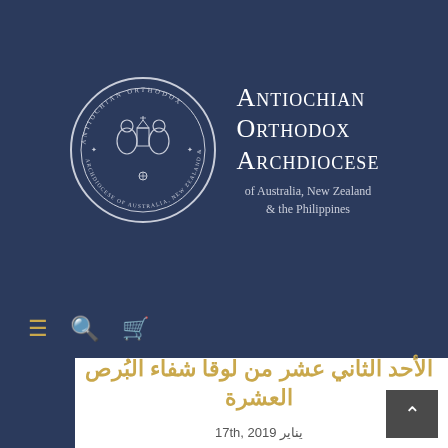[Figure (logo): Antiochian Orthodox Archdiocese of Australia, New Zealand & the Philippines seal/logo with circular emblem showing two figures and church, alongside organization name text]
≡ 🔍 🛒
الأحد الثاني عشر من لوقا شفاء البُرص العشرة
يناير 17th, 2019